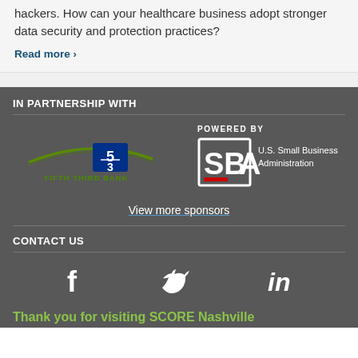hackers. How can your healthcare business adopt stronger data security and protection practices?
Read more >
IN PARTNERSHIP WITH
[Figure (logo): Fifth Third Bank logo with green arc and blue 5/3 emblem]
[Figure (logo): POWERED BY - SBA U.S. Small Business Administration logo]
View more sponsors
CONTACT US
[Figure (illustration): Social media icons: Facebook, Twitter, LinkedIn]
Thank you for visiting SCORE Nashville